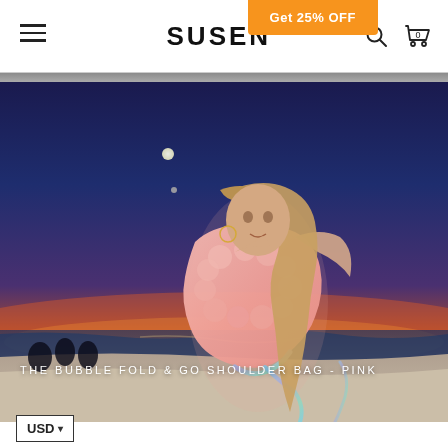SUSEN — Get 25% OFF
[Figure (photo): E-commerce website screenshot showing the SUSEN brand store. Header has hamburger menu, SUSEN logo, search and cart icons, and an orange 'Get 25% OFF' promo banner. Main product image shows a young woman at a beach at sunset wearing a pink bubble-texture shoulder bag and a holographic blue bikini. The sky is a deep blue-to-orange gradient sunset. Text overlay reads 'THE BUBBLE FOLD & GO SHOULDER BAG - PINK'. A USD currency selector is shown at the bottom left.]
THE BUBBLE FOLD & GO SHOULDER BAG - PINK